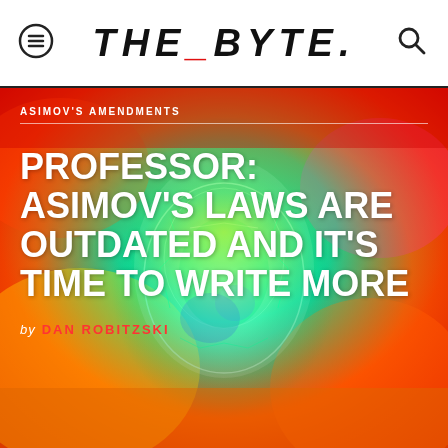THE_BYTE.
ASIMOV'S AMENDMENTS
[Figure (illustration): Colorful psychedelic illustration of a robot or AI face with vibrant rainbow colors — greens, reds, yellows, blues — with circuit-like patterns forming a humanoid head shape.]
PROFESSOR: ASIMOV'S LAWS ARE OUTDATED AND IT'S TIME TO WRITE MORE
by DAN ROBITZSKI